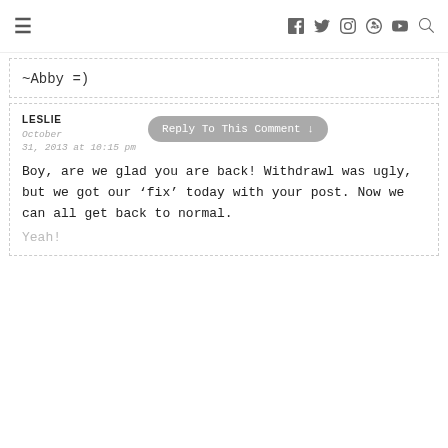≡  f  t  IG  P  ▶  🔍
~Abby =)
LESLIE
October 31, 2013 at 10:15 pm
Reply To This Comment ↓
Boy, are we glad you are back! Withdrawl was ugly, but we got our 'fix' today with your post. Now we can all get back to normal.
Yeah!